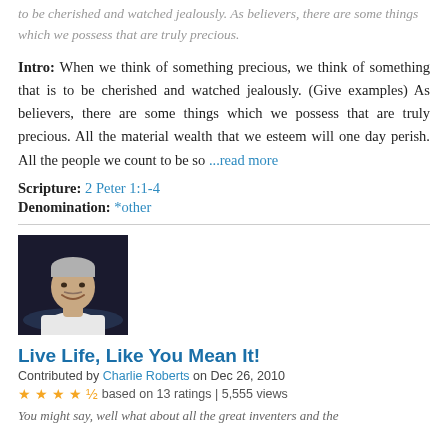to be cherished and watched jealously. As believers, there are some things which we possess that are truly precious.
Intro: When we think of something precious, we think of something that is to be cherished and watched jealously. (Give examples) As believers, there are some things which we possess that are truly precious. All the material wealth that we esteem will one day perish. All the people we count to be so ...read more
Scripture: 2 Peter 1:1-4
Denomination: *other
[Figure (photo): Portrait photo of an older man with gray hair, smiling, wearing a white shirt, dark background]
Live Life, Like You Mean It!
Contributed by Charlie Roberts on Dec 26, 2010
★★★★½ based on 13 ratings | 5,555 views
You might say, well what about all the great inventers and the